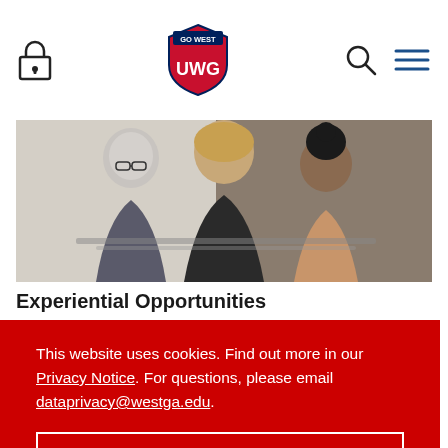GO WEST UWG - University of West Georgia navigation header
[Figure (photo): Three people (two women and one person with grey hair) leaning over and looking at something together, in a professional setting]
Experiential Opportunities
This website uses cookies. Find out more in our Privacy Notice. For questions, please email dataprivacy@westga.edu.
Got it!